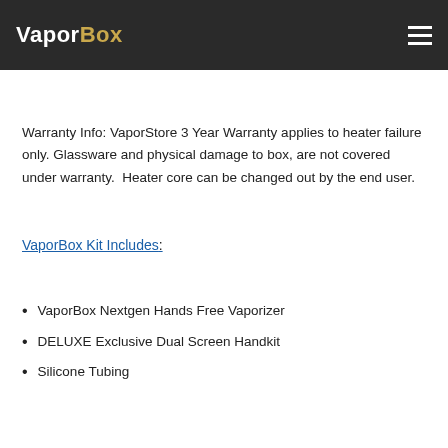VaporBox
Warranty Info: VaporStore 3 Year Warranty applies to heater failure only. Glassware and physical damage to box, are not covered under warranty.  Heater core can be changed out by the end user.
VaporBox Kit Includes:
VaporBox Nextgen Hands Free Vaporizer
DELUXE Exclusive Dual Screen Handkit
Silicone Tubing